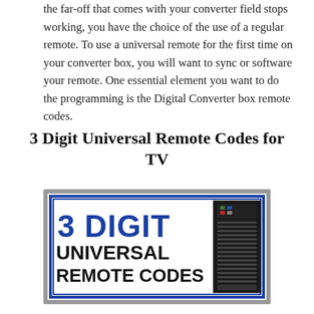the far-off that comes with your converter field stops working, you have the choice of the use of a regular remote. To use a universal remote for the first time on your converter box, you will want to sync or software your remote. One essential element you want to do the programming is the Digital Converter box remote codes.
3 Digit Universal Remote Codes for TV
[Figure (illustration): An image with a blue and black banner reading '3 DIGIT UNIVERSAL REMOTE CODES' in large bold text, with a photo of a black TV remote control on the right side. The banner has a blue border with double lines.]
A